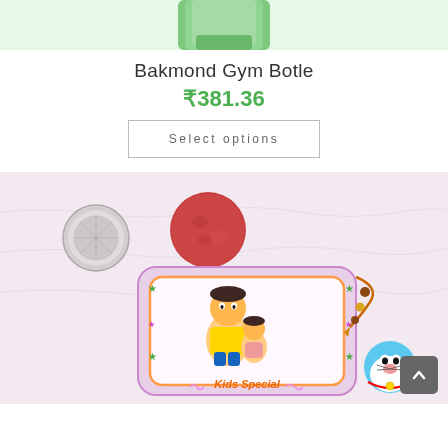[Figure (photo): Top portion of a green gym bottle on white background]
Bakmond Gym Botle
₹381.36
Select options
[Figure (photo): Kids Special Rakhi set with silver coin, red kumkum powder, and a decorative cartoon rakhi card featuring Chhota Bheem characters, with Doraemon in corner. Pink/white textured background.]